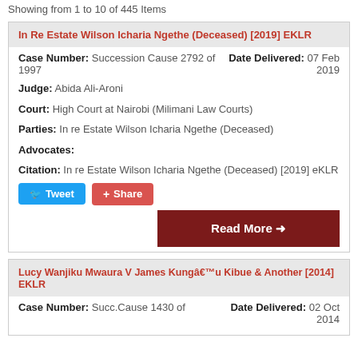Showing from 1 to 10 of 445 Items
In Re Estate Wilson Icharia Ngethe (Deceased) [2019] EKLR
Case Number: Succession Cause 2792 of 1997
Date Delivered: 07 Feb 2019
Judge: Abida Ali-Aroni
Court: High Court at Nairobi (Milimani Law Courts)
Parties: In re Estate Wilson Icharia Ngethe (Deceased)
Advocates:
Citation: In re Estate Wilson Icharia Ngethe (Deceased) [2019] eKLR
Lucy Wanjiku Mwaura V James Kungâ€™u Kibue & Another [2014] EKLR
Case Number: Succ.Cause 1430 of
Date Delivered: 02 Oct 2014